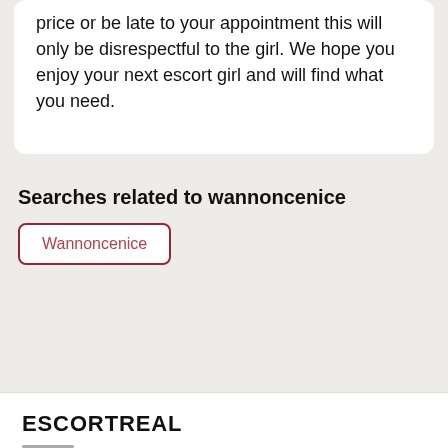price or be late to your appointment this will only be disrespectful to the girl. We hope you enjoy your next escort girl and will find what you need.
Searches related to wannoncenice
Wannoncenice
ESCORTREAL